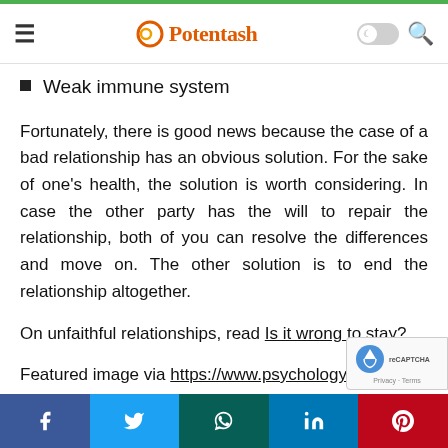Potentash
Weak immune system
Fortunately, there is good news because the case of a bad relationship has an obvious solution. For the sake of one's health, the solution is worth considering. In case the other party has the will to repair the relationship, both of you can resolve the differences and move on. The other solution is to end the relationship altogether.
On unfaithful relationships, read Is it wrong to stay?
Featured image via https://www.psychologytoday.com